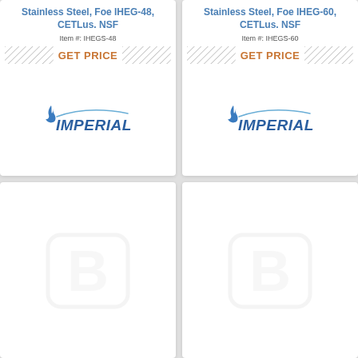Stainless Steel, Foe IHEG-48, CETLus. NSF
Item #: IHEGS-48
GET PRICE
[Figure (logo): Imperial brand logo with flame icon]
Stainless Steel, Foe IHEG-60, CETLus. NSF
Item #: IHEGS-60
GET PRICE
[Figure (logo): Imperial brand logo with flame icon]
[Figure (logo): Placeholder B logo watermark]
[Figure (logo): Placeholder B logo watermark]